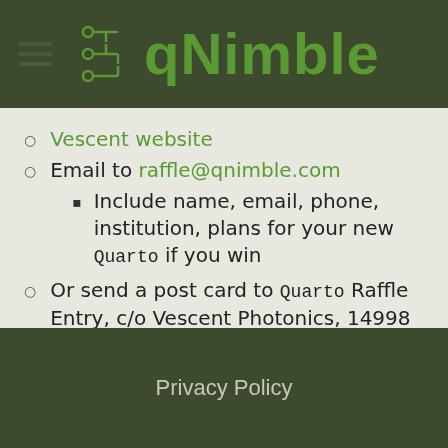qNimble
Vescent website
Email to raffle@qnimble.com
Include name, email, phone, institution, plans for your new Quarto if you win
Or send a post card to Quarto Raffle Entry, c/o Vescent Photonics, 14998 W. 6th Ave., Suite 700, Golden, CO 80401
Include name, email, phone, institution, plans for your new SLICE if you win
Privacy Policy